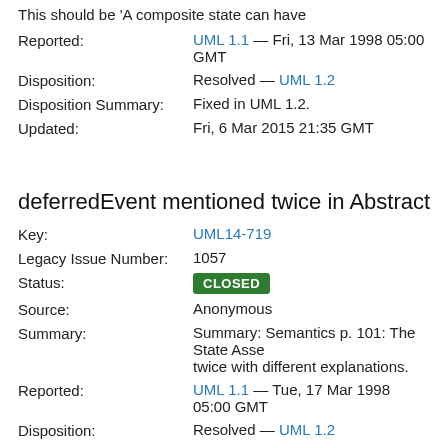This should be 'A composite state can have
Reported: UML 1.1 — Fri, 13 Mar 1998 05:00 GMT
Disposition: Resolved — UML 1.2
Disposition Summary: Fixed in UML 1.2.
Updated: Fri, 6 Mar 2015 21:35 GMT
deferredEvent mentioned twice in Abstract Synta
Key: UML14-719
Legacy Issue Number: 1057
Status: CLOSED
Source: Anonymous
Summary: Summary: Semantics p. 101: The State Asse twice with different explanations.
Reported: UML 1.1 — Tue, 17 Mar 1998 05:00 GMT
Disposition: Resolved — UML 1.2
Disposition Summary: Redundant (duplicates 860).